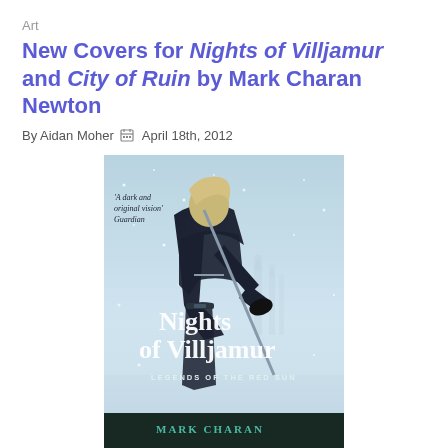Art
New Covers for Nights of Villjamur and City of Ruin by Mark Charan Newton
By Aidan Moher   April 18th, 2012
[Figure (photo): Book cover for 'Nights of Villjamur' by Mark Charan Newton. Shows a warrior with blonde hair in dark armour in a snowy scene, holding a sword. Text on cover reads 'A dark and original vision' Guardian, Nights of Villjamur, Legends of the Red Sun, Mark Charan Newton.]